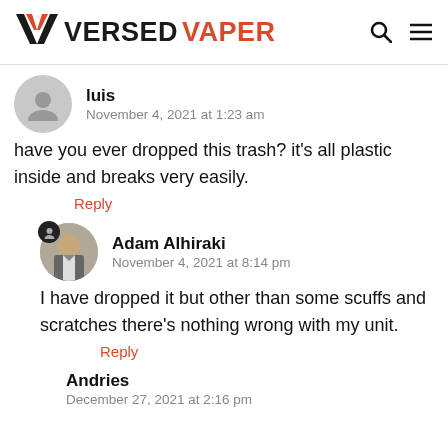Versed Vaper
luis
November 4, 2021 at 1:23 am
have you ever dropped this trash? it's all plastic inside and breaks very easily.
Reply
Adam Alhiraki
November 4, 2021 at 8:14 pm
I have dropped it but other than some scuffs and scratches there's nothing wrong with my unit.
Reply
Andries
December 27, 2021 at 2:16 pm